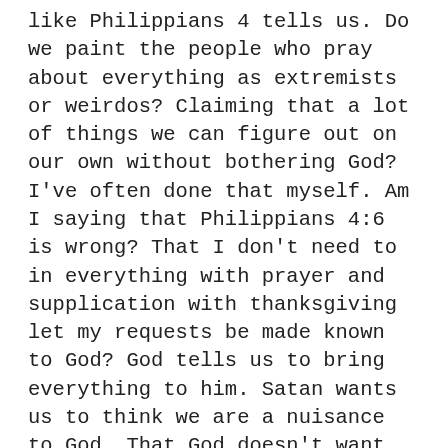like Philippians 4 tells us. Do we paint the people who pray about everything as extremists or weirdos? Claiming that a lot of things we can figure out on our own without bothering God? I've often done that myself. Am I saying that Philippians 4:6 is wrong? That I don't need to in everything with prayer and supplication with thanksgiving let my requests be made known to God? God tells us to bring everything to him. Satan wants us to think we are a nuisance to God. That God doesn't want us bothering him so much, especially about the small stuff. Guess what? Most of our days are made up of lots of small stuff. Small stuff that God truly cares about. Satan also wants us believing we are in control and don't really need to bring things to God. Also not true. What would happen if you decided to start praying about everything? Do you think your attitudes and